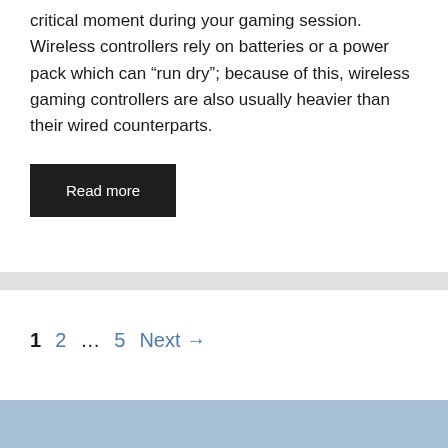critical moment during your gaming session. Wireless controllers rely on batteries or a power pack which can “run dry”; because of this, wireless gaming controllers are also usually heavier than their wired counterparts.
Read more
1  2  ...  5  Next →